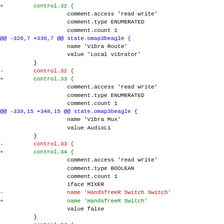Unified diff patch showing changes to control numbering in state.omap3beagle configuration, including renaming of HandsfreeR Switch Switch to HandsfreeR Switch